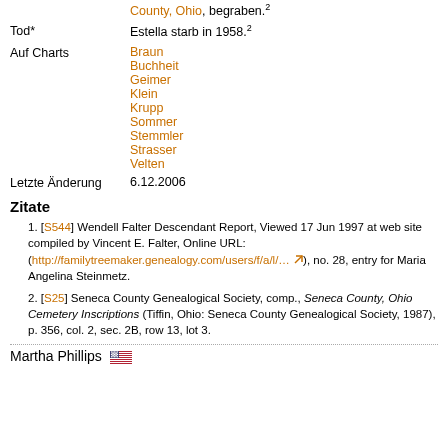County, Ohio, begraben.²
Tod* — Estella starb in 1958.²
Auf Charts — Braun, Buchheit, Geimer, Klein, Krupp, Sommer, Stemmler, Strasser, Velten
Letzte Änderung — 6.12.2006
Zitate
1. [S544] Wendell Falter Descendant Report, Viewed 17 Jun 1997 at web site compiled by Vincent E. Falter, Online URL: (http://familytreemaker.genealogy.com/users/f/a/l/… ↗), no. 28, entry for Maria Angelina Steinmetz.
2. [S25] Seneca County Genealogical Society, comp., Seneca County, Ohio Cemetery Inscriptions (Tiffin, Ohio: Seneca County Genealogical Society, 1987), p. 356, col. 2, sec. 2B, row 13, lot 3.
Martha Phillips